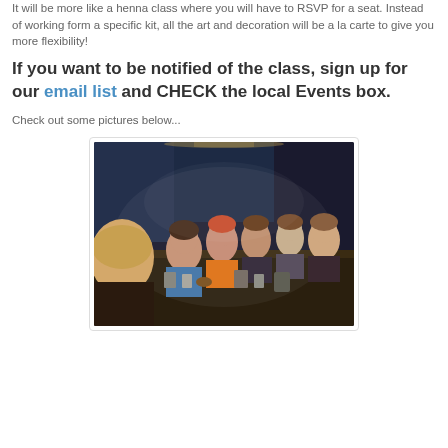It will be more like a henna class where you will have to RSVP for a seat. Instead of working form a specific kit, all the art and decoration will be a la carte to give you more flexibility!
If you want to be notified of the class, sign up for our email list and CHECK the local Events box.
Check out some pictures below...
[Figure (photo): Group of women seated around a table in an indoor setting, appearing to be at a class or workshop event, with dim ambient lighting.]